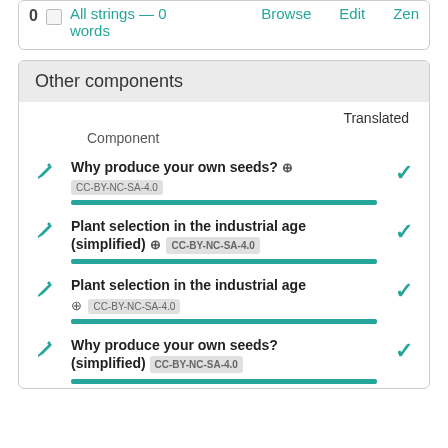0  All strings — 0 words   Browse   Edit   Zen
Other components
| Component | Translated |
| --- | --- |
| Why produce your own seeds? ⊕ CC-BY-NC-SA-4.0 | ✓ |
| Plant selection in the industrial age (simplified) ⊕ CC-BY-NC-SA-4.0 | ✓ |
| Plant selection in the industrial age ⊕ CC-BY-NC-SA-4.0 | ✓ |
| Why produce your own seeds? (simplified) CC-BY-NC-SA-4.0 | ✓ |